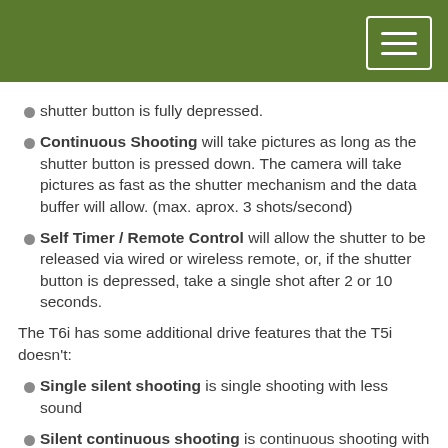shutter button is fully depressed.
Continuous Shooting will take pictures as long as the shutter button is pressed down. The camera will take pictures as fast as the shutter mechanism and the data buffer will allow. (max. aprox. 3 shots/second)
Self Timer / Remote Control will allow the shutter to be released via wired or wireless remote, or, if the shutter button is depressed, take a single shot after 2 or 10 seconds.
The T6i has some additional drive features that the T5i doesn’t:
Single silent shooting is single shooting with less sound
Silent continuous shooting is continuous shooting with less sound
Self-timer: Continuous Press the up and down arrow keys to set the number of multiple shots (2 to 10) to be taken with the self timer. 10 seconds after